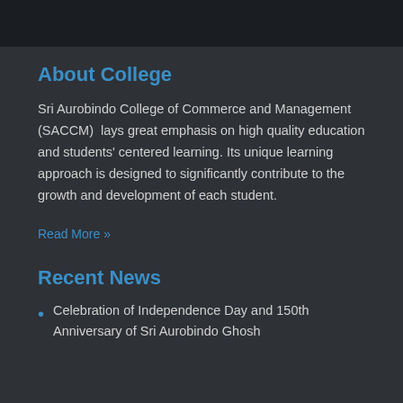About College
Sri Aurobindo College of Commerce and Management (SACCM) lays great emphasis on high quality education and students' centered learning. Its unique learning approach is designed to significantly contribute to the growth and development of each student.
Read More »
Recent News
Celebration of Independence Day and 150th Anniversary of Sri Aurobindo Ghosh